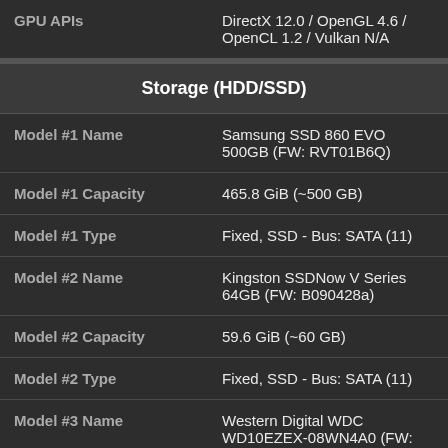| Property | Value |
| --- | --- |
| GPU APIs | DirectX 12.0 / OpenGL 4.6 / OpenCL 1.2 / Vulkan N/A |
| Storage (HDD/SSD) |  |
| Model #1 Name | Samsung SSD 860 EVO 500GB (FW: RVT01B6Q) |
| Model #1 Capacity | 465.8 GiB (~500 GB) |
| Model #1 Type | Fixed, SSD - Bus: SATA (11) |
| Model #2 Name | Kingston SSDNow V Series 64GB (FW: B090428a) |
| Model #2 Capacity | 59.6 GiB (~60 GB) |
| Model #2 Type | Fixed, SSD - Bus: SATA (11) |
| Model #3 Name | Western Digital WDC WD10EZEX-08WN4A0 (FW: 02.01A02) |
| Model #3 Capacity | 931.5 GiB (~1000 GB) |